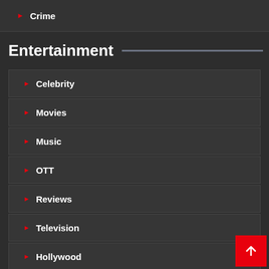▶ Crime
Entertainment
▶ Celebrity
▶ Movies
▶ Music
▶ OTT
▶ Reviews
▶ Television
▶ Hollywood
▶ Korean drama